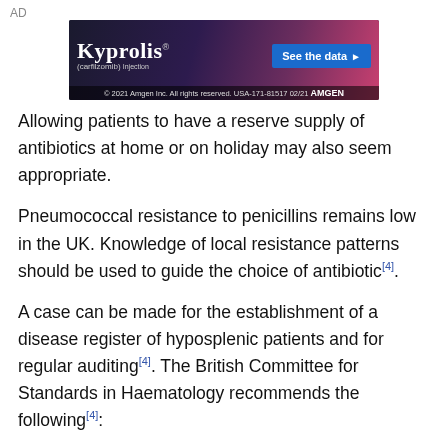AD
[Figure (photo): Advertisement banner for Kyprolis (carfilzomib) injection by Amgen. Dark pink/purple background with text 'See the data' CTA button. Footer reads: © 2021 Amgen Inc. All rights reserved. USA-171-81517 02/21 AMGEN]
Allowing patients to have a reserve supply of antibiotics at home or on holiday may also seem appropriate.
Pneumococcal resistance to penicillins remains low in the UK. Knowledge of local resistance patterns should be used to guide the choice of antibiotic[4].
A case can be made for the establishment of a disease register of hyposplenic patients and for regular auditing[4]. The British Committee for Standards in Haematology recommends the following[4]:
Patients should be given written information and carry a card to alert health professionals to the risk of overwhelming infection. Patients should wear an alert